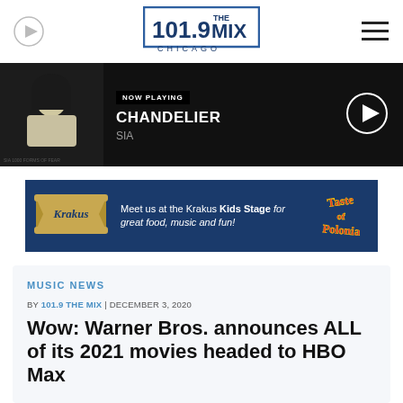[Figure (logo): 101.9 The Mix Chicago radio station logo with blue border, flanked by circular play button on left and hamburger menu icon on right]
[Figure (screenshot): Now Playing bar showing album art for Sia - Chandelier, with NOW PLAYING label, song title CHANDELIER, artist SIA, and circular play button on right]
[Figure (illustration): Advertisement banner for Krakus Kids Stage at Taste of Polonia event, dark blue background with Krakus logo scroll and colorful Taste of Polonia text]
MUSIC NEWS
BY 101.9 THE MIX | DECEMBER 3, 2020
Wow: Warner Bros. announces ALL of its 2021 movies headed to HBO Max